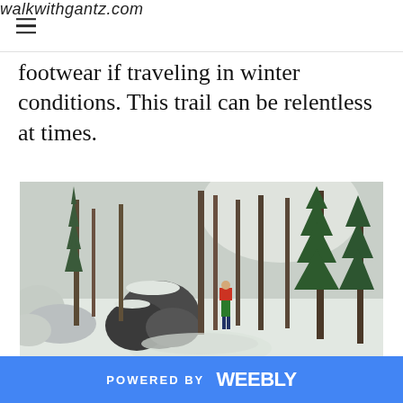walkwithgantz.com
footwear if traveling in winter conditions. This trail can be relentless at times.
[Figure (photo): A hiker in red and green jacket standing on a snow-covered trail surrounded by tall pine and bare trees, with large snow-dusted boulders on the left side.]
POWERED BY weebly